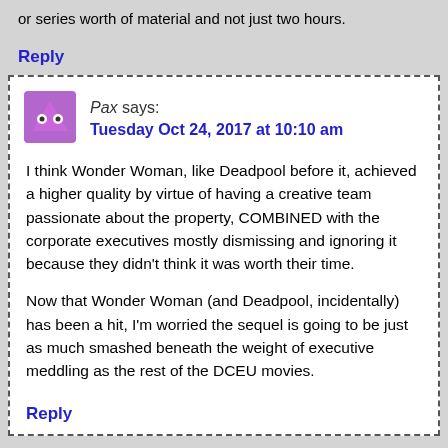or series worth of material and not just two hours.
Reply
Pax says:
Tuesday Oct 24, 2017 at 10:10 am
I think Wonder Woman, like Deadpool before it, achieved a higher quality by virtue of having a creative team passionate about the property, COMBINED with the corporate executives mostly dismissing and ignoring it because they didn't think it was worth their time.
Now that Wonder Woman (and Deadpool, incidentally) has been a hit, I'm worried the sequel is going to be just as much smashed beneath the weight of executive meddling as the rest of the DCEU movies.
Reply